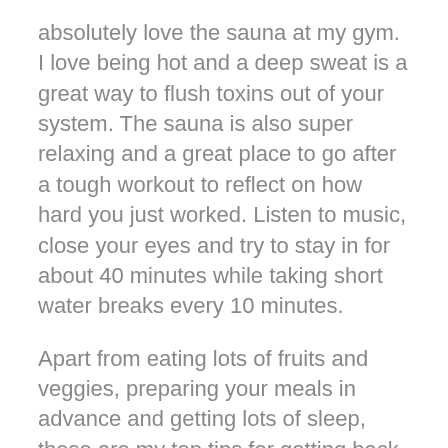absolutely love the sauna at my gym. I love being hot and a deep sweat is a great way to flush toxins out of your system. The sauna is also super relaxing and a great place to go after a tough workout to reflect on how hard you just worked. Listen to music, close your eyes and try to stay in for about 40 minutes while taking short water breaks every 10 minutes.
Apart from eating lots of fruits and veggies, preparing your meals in advance and getting lots of sleep, these are my top tips for getting back into the swing of a clean eating healthy life style.
Here are a few very other quick tips that you can incorporate when you feel like you’re getting back into a good place: